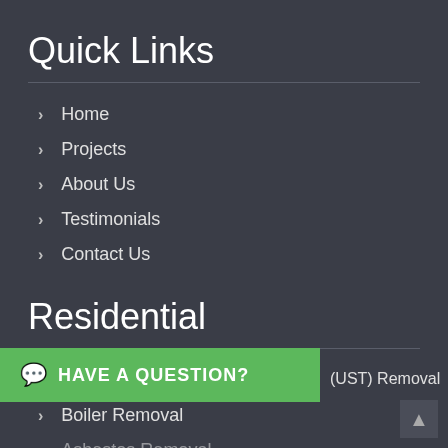Quick Links
Home
Projects
About Us
Testimonials
Contact Us
Residential
Oil Tank Removal
Boiler Removal
Asbestos Removal
(UST) Removal
HAVE A QUESTION?